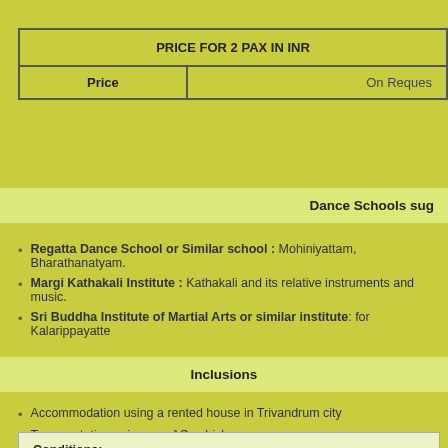| PRICE FOR 2 PAX IN INR |
| --- |
| Price | On Request |
Dance Schools sug...
Regatta Dance School or Similar school : Mohiniyattam, Bharathanatyam.
Margi Kathakali Institute : Kathakali and its relative instruments and music.
Sri Buddha Institute of Martial Arts or similar institute: for Kalarippayatte
Inclusions
Accommodation using a rented house in Trivandrum city
Transportation using non AC vehicle
All food included (by arranging a private cook at the house)
Cost for the classes mentioned as per the program
Tour program - Auditorium for the final performance
Conditions:
Cost is based on 09 paying students and one Teacher.